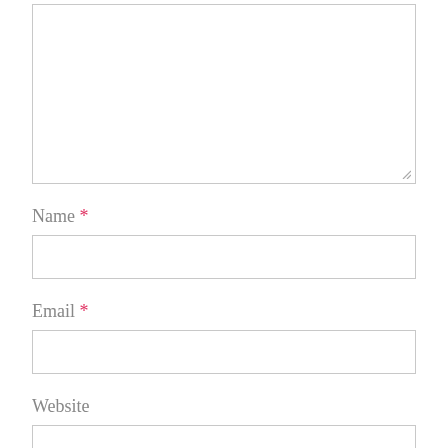[Figure (other): Large empty textarea input field with resize handle at bottom-right corner]
Name *
[Figure (other): Empty single-line text input field for Name]
Email *
[Figure (other): Empty single-line text input field for Email]
Website
[Figure (other): Empty single-line text input field for Website (partially visible)]